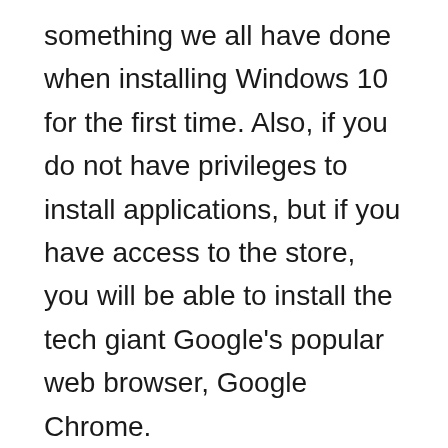something we all have done when installing Windows 10 for the first time. Also, if you do not have privileges to install applications, but if you have access to the store, you will be able to install the tech giant Google’s popular web browser, Google Chrome.
Finally, it is noteworthy that the entry of the tech giant Google’s popular web browser, Google Chrome in the application store of Windows 10 does we can use this browser in Windows 10 S. For the moment, that limitation is still present and there is no sign that it will change in the coming times. Users of this version of the tech